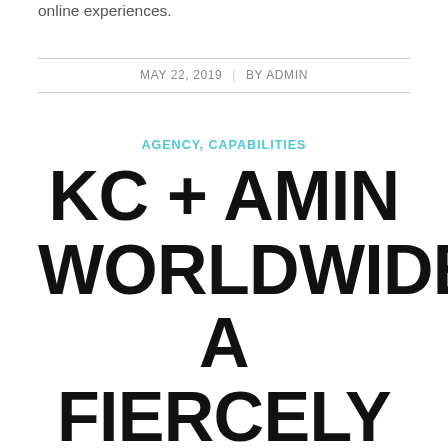online experiences.
MAY 22, 2019 | BY ADMIN
AGENCY, CAPABILITIES
KC + AMIN WORLDWIDE: A FIERCELY INDEPENDENT